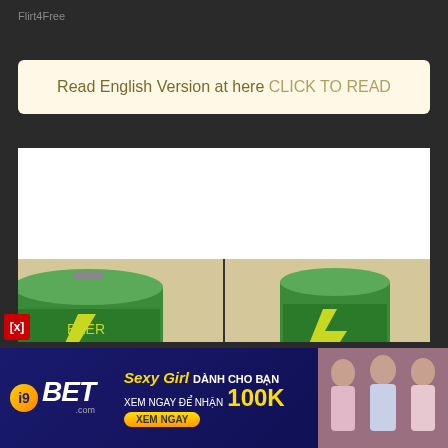Flirt4Free
Read English Version at here CLICK TO READ
[Figure (illustration): White blank comic panel area at top, below is a split two-panel comic showing close-up of green beer cans (Hera brand) on a beige/tan background]
[Figure (photo): Advertisement banner for i9BET.com showing Sexy Girl, DANH CHO BAN, XEM NGAY DE NHAN 100K, XEM NGAY button, with photos of women in bikinis on the right side]